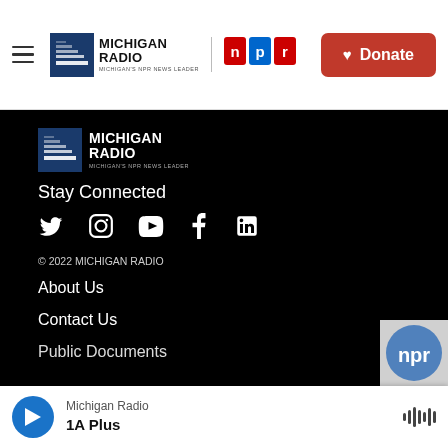[Figure (logo): Michigan Radio NPR News Leader logo with hamburger menu and NPR logo in white header]
[Figure (logo): Red Donate button with heart icon in header]
[Figure (logo): Michigan Radio Michigan's NPR News Leader white logo on black footer background]
Stay Connected
[Figure (infographic): Social media icons: Twitter, Instagram, YouTube, Facebook, LinkedIn]
© 2022 MICHIGAN RADIO
About Us
Contact Us
Public Documents
[Figure (other): Partial NPR logo image at bottom right]
[Figure (other): Player bar: Michigan Radio / 1A Plus with blue play button and waveform icon]